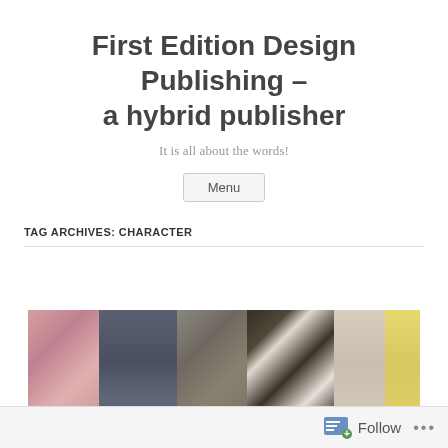First Edition Design Publishing – a hybrid publisher
It is all about the words!
Menu
TAG ARCHIVES: CHARACTER
[Figure (photo): Group of people shown from neck down wearing various clothes: pink/red plaid shirt, dark knit sweater, blurred dark-light checkered shirt, beige top, yellow garment. Partial text overlay reading 'Do character work' at bottom.]
Follow ...